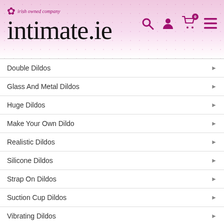intimate.ie — Irish owned company
Double Dildos
Glass And Metal Dildos
Huge Dildos
Make Your Own Dildo
Realistic Dildos
Silicone Dildos
Strap On Dildos
Suction Cup Dildos
Vibrating Dildos
Gift Sets